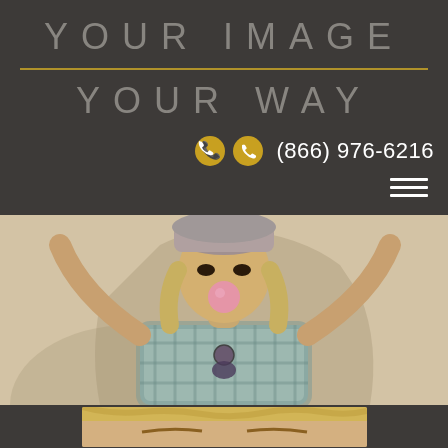YOUR IMAGE
YOUR WAY
(866) 976-6216
[Figure (photo): Young blonde woman wearing a grey beanie hat and plaid shirt, blowing a bubble gum bubble, with hands behind her head, photographed against a beige/cream wall in bright sunlight]
[Figure (photo): Partial view of a blonde woman, cropped at the bottom of the page, showing the top portion of her head]